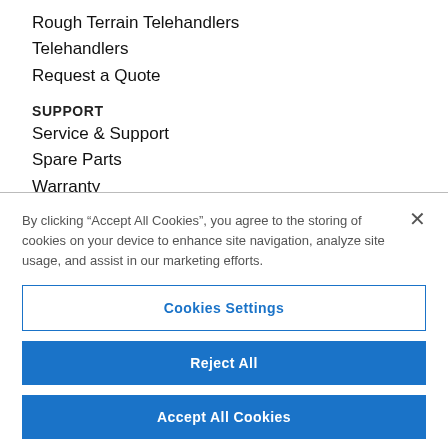Rough Terrain Telehandlers
Telehandlers
Request a Quote
SUPPORT
Service & Support
Spare Parts
Warranty
Technical Manuals & Bulletins
By clicking “Accept All Cookies”, you agree to the storing of cookies on your device to enhance site navigation, analyze site usage, and assist in our marketing efforts.
Cookies Settings
Reject All
Accept All Cookies